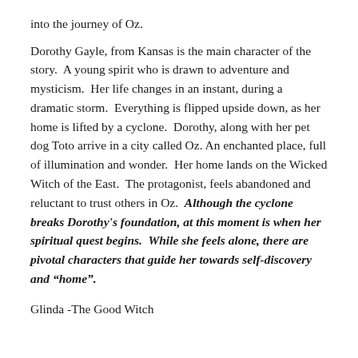into the journey of Oz.
Dorothy Gayle, from Kansas is the main character of the story.  A young spirit who is drawn to adventure and mysticism.  Her life changes in an instant, during a dramatic storm.  Everything is flipped upside down, as her home is lifted by a cyclone.  Dorothy, along with her pet dog Toto arrive in a city called Oz. An enchanted place, full of illumination and wonder.  Her home lands on the Wicked Witch of the East.  The protagonist, feels abandoned and reluctant to trust others in Oz.  Although the cyclone breaks Dorothy's foundation, at this moment is when her spiritual quest begins.  While she feels alone, there are pivotal characters that guide her towards self-discovery and “home”.
Glinda -The Good Witch